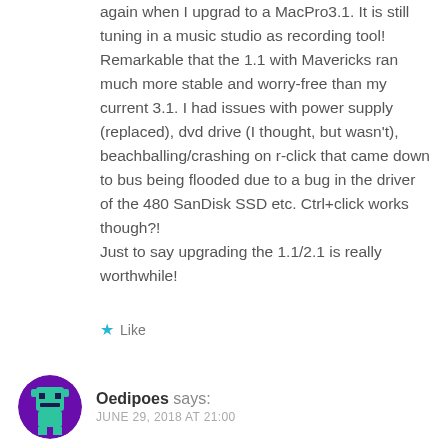again when I upgrad to a MacPro3.1. It is still tuning in a music studio as recording tool! Remarkable that the 1.1 with Mavericks ran much more stable and worry-free than my current 3.1. I had issues with power supply (replaced), dvd drive (I thought, but wasn't), beachballing/crashing on r-click that came down to bus being flooded due to a bug in the driver of the 480 SanDisk SSD etc. Ctrl+click works though?!
Just to say upgrading the 1.1/2.1 is really worthwhile!
Like
[Figure (illustration): Pixel-art avatar of a teal/green character on purple background, circular crop]
Oedipoes says:
JUNE 29, 2018 AT 21:00